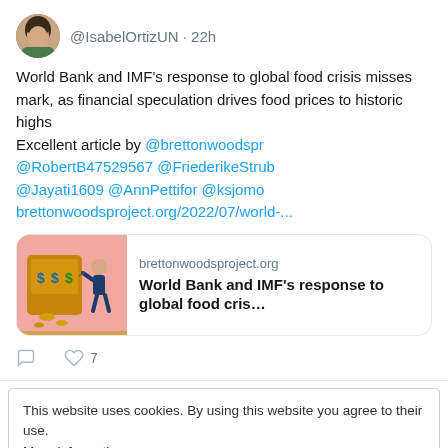[Figure (screenshot): Twitter/social media post screenshot showing a user avatar (woman with dark hair) next to handle @IsabelOrtizUN · 22h. Tweet text about World Bank and IMF's response to global food crisis. Includes a link card preview for brettonwoodsproject.org with an illustration of a person at a slot machine. Reply and heart (7 likes) action icons shown below.]
This website uses cookies. By using this website you agree to their use. More information
Close and accept
…IMF…distribut…